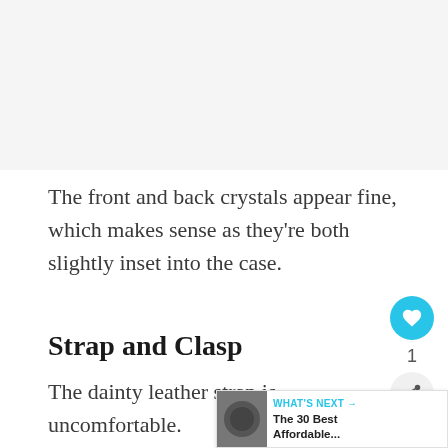[Figure (photo): A blank/light gray image placeholder area at the top of the page]
The front and back crystals appear fine, which makes sense as they're both slightly inset into the case.
Strap and Clasp
The dainty leather strap is uncomfortable. shows wear almost immediately, a generally poor quality. The clasp is also a